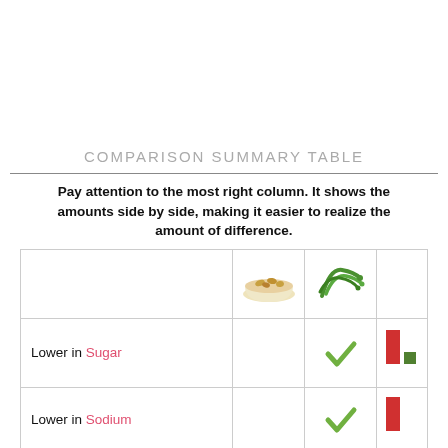COMPARISON SUMMARY TABLE
Pay attention to the most right column. It shows the amounts side by side, making it easier to realize the amount of difference.
|  | cereal image | green beans image | comparison bar |
| --- | --- | --- | --- |
| Lower in Sugar |  | ✓ | bar (red/green) |
| Lower in Sodium |  | ✓ | bar (red) |
| Lower in Saturated Fat |  | ✓ (faint) | bar (faint) |